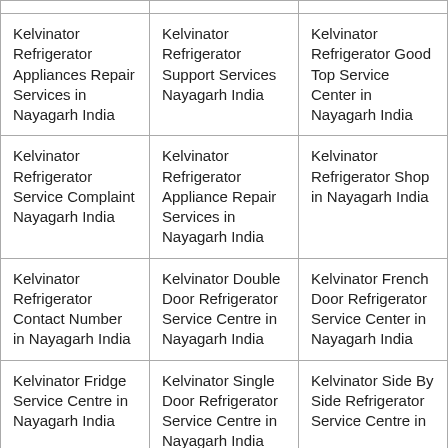| Kelvinator Refrigerator Appliances Repair Services in Nayagarh India | Kelvinator Refrigerator Support Services Nayagarh India | Kelvinator Refrigerator Good Top Service Center in Nayagarh India |
| Kelvinator Refrigerator Service Complaint Nayagarh India | Kelvinator Refrigerator Appliance Repair Services in Nayagarh India | Kelvinator Refrigerator Shop in Nayagarh India |
| Kelvinator Refrigerator Contact Number in Nayagarh India | Kelvinator Double Door Refrigerator Service Centre in Nayagarh India | Kelvinator French Door Refrigerator Service Center in Nayagarh India |
| Kelvinator Fridge Service Centre in Nayagarh India | Kelvinator Single Door Refrigerator Service Centre in Nayagarh India | Kelvinator Side By Side Refrigerator Service Centre in Nayagarh India |